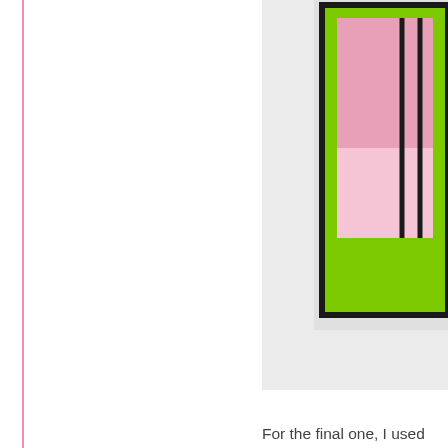[Figure (photo): Framed artwork with green, pink, and black geometric design on a light grey background, partially visible on the right side of the page]
For the final one, I used the cor designed by the wonderful Lori
Posted at 03:27 PM in Encourage
MARCH 27, 2022
Mixed Media Washi